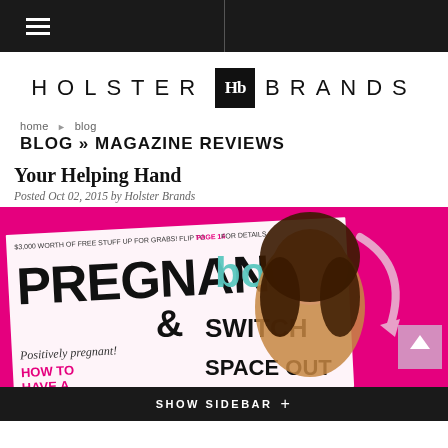Holster Brands — navigation bar
[Figure (logo): Holster Brands logo with stylized Hb icon in black square, flanked by wide-spaced uppercase text HOLSTER and BRANDS]
home ▸ blog
BLOG » MAGAZINE REVIEWS
Your Helping Hand
Posted Oct 02, 2015 by Holster Brands
[Figure (photo): Magazine cover image on hot pink background showing Pregnancy & Newborn magazine with a smiling woman, text includes 'PREGNANCY & born', 'SWITCH', 'SPACE OUT', 'Positively pregnant!', 'HOW TO HAVE A HAPPY MONTHS', '$3,000 worth of free stuff up for grabs! Flip to Page 14 for details']
SHOW SIDEBAR +